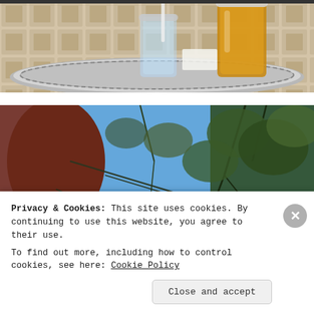[Figure (photo): Top portion of a photo showing glasses of tea and a drink on a decorative silver tray on a tiled surface, partially cropped]
[Figure (photo): Photo of yellow flowers in the foreground with tree branches, blue sky, and a pink/terracotta wall in the background, taken in a Moroccan courtyard or riad]
Privacy & Cookies: This site uses cookies. By continuing to use this website, you agree to their use.
To find out more, including how to control cookies, see here: Cookie Policy